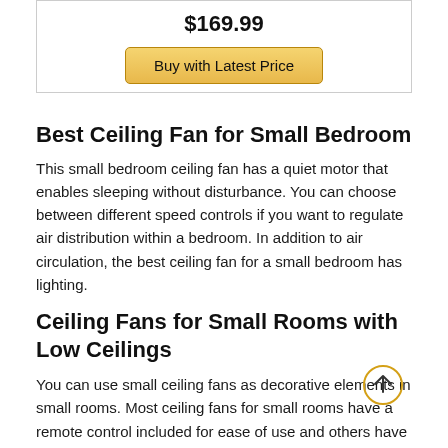$169.99
[Figure (other): Buy with Latest Price button - golden/yellow rounded rectangle button]
Best Ceiling Fan for Small Bedroom
This small bedroom ceiling fan has a quiet motor that enables sleeping without disturbance. You can choose between different speed controls if you want to regulate air distribution within a bedroom. In addition to air circulation, the best ceiling fan for a small bedroom has lighting.
Ceiling Fans for Small Rooms with Low Ceilings
You can use small ceiling fans as decorative elements in small rooms. Most ceiling fans for small rooms have a remote control included for ease of use and others have
[Figure (other): Scroll to top button - circular golden/yellow arrow pointing upward]